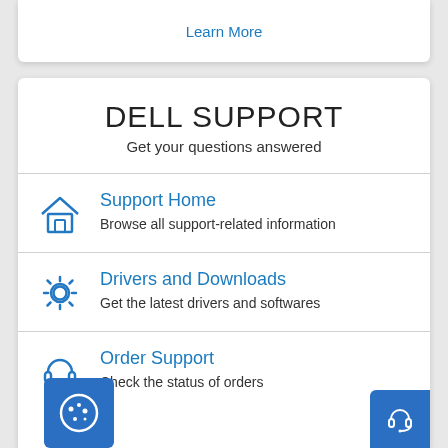Learn More
DELL SUPPORT
Get your questions answered
Support Home
Browse all support-related information
Drivers and Downloads
Get the latest drivers and softwares
Order Support
Check the status of orders